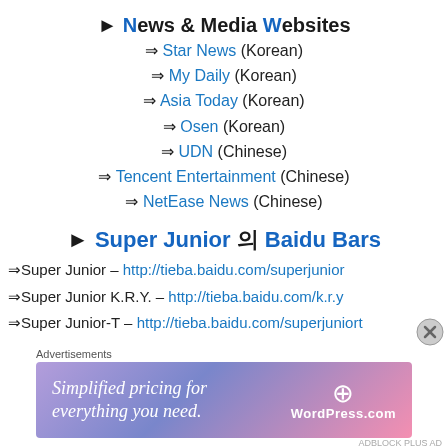► News & Media Websites
⇒ Star News (Korean)
⇒ My Daily (Korean)
⇒ Asia Today (Korean)
⇒ Osen (Korean)
⇒ UDN (Chinese)
⇒ Tencent Entertainment (Chinese)
⇒ NetEase News (Chinese)
► Super Junior 의 Baidu Bars
⇒Super Junior – http://tieba.baidu.com/superjunior
⇒Super Junior K.R.Y. – http://tieba.baidu.com/k.r.y
⇒Super Junior-T – http://tieba.baidu.com/superjuniort
Advertisements
[Figure (illustration): WordPress.com advertisement banner: 'Simplified pricing for everything you need.' with WordPress logo on gradient purple-pink background]